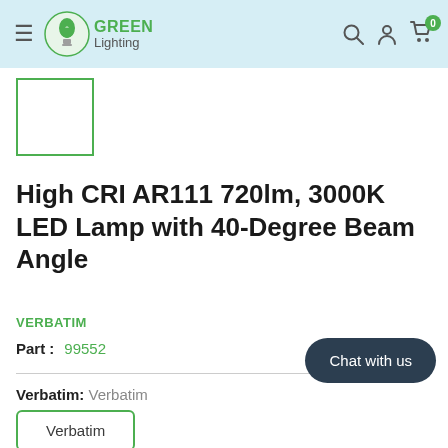Green Lighting — navigation header with logo, search, account, cart (0)
[Figure (other): Product thumbnail placeholder — white box with green border]
High CRI AR111 720lm, 3000K LED Lamp with 40-Degree Beam Angle
VERBATIM
Part : 99552
Verbatim: Verbatim
Verbatim